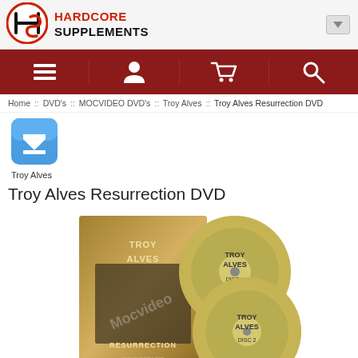[Figure (logo): Hardcore Supplements logo with stylized HS letters in red/black circle]
HARDCORE SUPPLEMENTS
[Figure (screenshot): Dark red navigation bar with icons: list/menu, user profile, shopping cart, search]
Home :: DVD's :: MOCVIDEO DVD's :: Troy Alves :: Troy Alves Resurrection DVD
[Figure (illustration): Blue rounded square icon with white download arrow]
Troy Alves
Troy Alves Resurrection DVD
[Figure (photo): Product photo of Troy Alves Resurrection DVD box set with two discs labeled DISC 1 and DISC 2, showing Troy Alves on the cover]